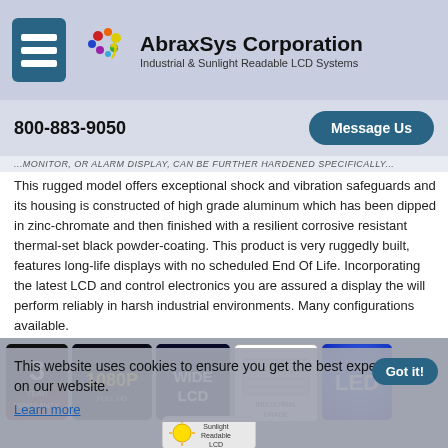AbraxSys Corporation — Industrial & Sunlight Readable LCD Systems
800-883-9050
Message Us
...
This rugged model offers exceptional shock and vibration safeguards and its housing is constructed of high grade aluminum which has been dipped in zinc-chromate and then finished with a resilient corrosive resistant thermal-set black powder-coating. This product is very ruggedly built, features long-life displays with no scheduled End Of Life. Incorporating the latest LCD and control electronics you are assured a display the will perform reliably in harsh industrial environments. Many configurations available.
[Figure (infographic): Row of product certification badges: 3 Year Warranty, 1080P Full HD, Wide LCD, Industrial Grade, LED logo, and Sunlight Readable LCD]
This website uses cookies to ensure you get the best experience on our website. Learn more. Got it!